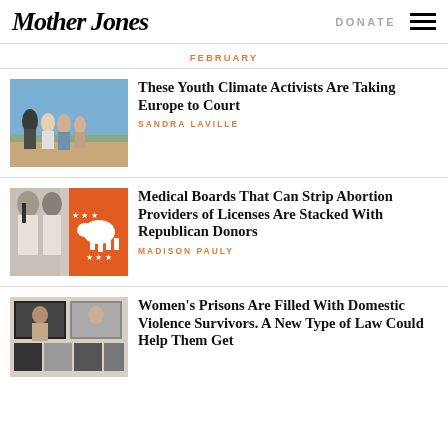Mother Jones
FEBRUARY
[Figure (photo): Group of young people standing on rocky terrain outdoors in sunlight]
These Youth Climate Activists Are Taking Europe to Court
SANDRA LAVILLE
[Figure (photo): Black and white photo of doctors in lab coats overlaid with orange Republican elephant symbol]
Medical Boards That Can Strip Abortion Providers of Licenses Are Stacked With Republican Donors
MADISON PAULY
[Figure (photo): Collage of black and white images related to women]
Women's Prisons Are Filled With Domestic Violence Survivors. A New Type of Law Could Help Them Get